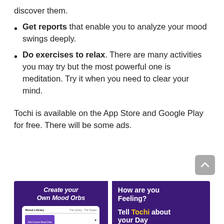discover them.
Get reports that enable you to analyze your mood swings deeply.
Do exercises to relax. There are many activities you may try but the most powerful one is meditation. Try it when you need to clear your mind.
Tochi is available on the App Store and Google Play for free. There will be some ads.
[Figure (screenshot): Two app screenshots on purple background. Left: 'Create your Own Mood Orbs' with phone UI mockup showing Mood Library. Right: 'How are you Feeling? Tell Tochi about your Day' with Tochi in yellow.]